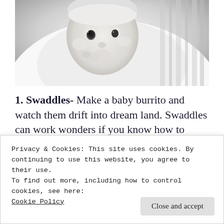[Figure (photo): Black and white close-up photo of a newborn baby lying down, looking toward the camera]
1. Swaddles- Make a baby burrito and watch them drift into dream land. Swaddles can work wonders if you know how to wrap the baby the right way. Highly recommend Muslin swaddles
Privacy & Cookies: This site uses cookies. By continuing to use this website, you agree to their use.
To find out more, including how to control cookies, see here:
Cookie Policy
Close and accept